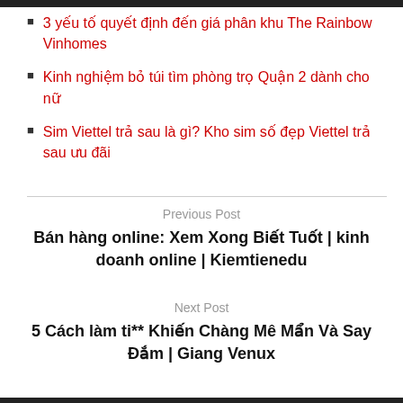3 yếu tố quyết định đến giá phân khu The Rainbow Vinhomes
Kinh nghiệm bỏ túi tìm phòng trọ Quận 2 dành cho nữ
Sim Viettel trả sau là gì? Kho sim số đẹp Viettel trả sau ưu đãi
Previous Post
Bán hàng online: Xem Xong Biết Tuốt | kinh doanh online | Kiemtienedu
Next Post
5 Cách làm ti** Khiến Chàng Mê Mẩn Và Say Đắm | Giang Venux